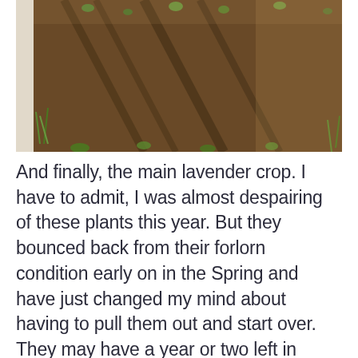[Figure (photo): A garden raised bed with soil rows visible, small green plant seedlings emerging from dark soil, photographed from above in bright sunlight creating shadows. A white wooden border is visible on the left side.]
And finally, the main lavender crop. I have to admit, I was almost despairing of these plants this year. But they bounced back from their forlorn condition early on in the Spring and have just changed my mind about having to pull them out and start over. They may have a year or two left in them!